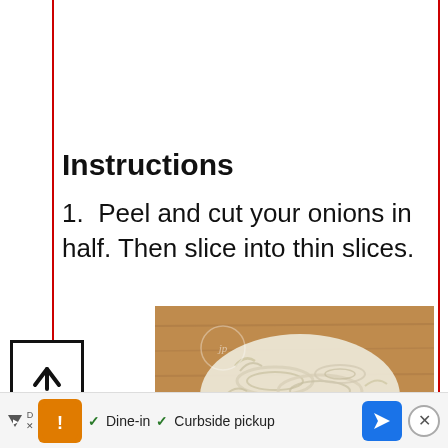Instructions
1. Peel and cut your onions in half. Then slice into thin slices.
[Figure (photo): Overhead photo of thinly sliced white onions on a wooden cutting board]
Dine-in  Curbside pickup  (ad bar)